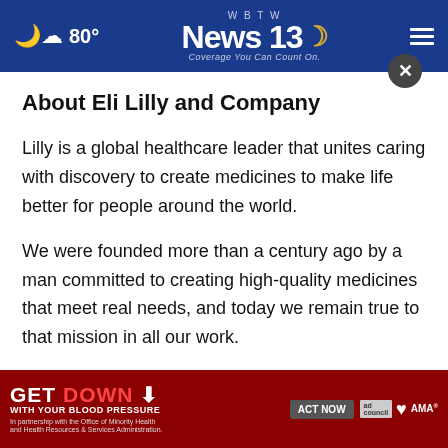80° WBTW News 13 Coverage You Can Count On.
About Eli Lilly and Company
Lilly is a global healthcare leader that unites caring with discovery to create medicines to make life better for people around the world.
We were founded more than a century ago by a man committed to creating high-quality medicines that meet real needs, and today we remain true to that mission in all our work.
Acros...
[Figure (infographic): Advertisement banner: GET DOWN WITH YOUR BLOOD PRESSURE - ACT NOW. In partnership with the Office of Minority Health and Health Resources & Services Administration. Logos: ad council, American Heart Association, AMA.]